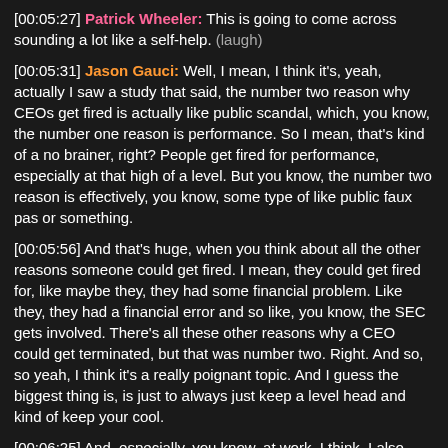[00:05:27] Patrick Wheeler: This is going to come across sounding a lot like a self-help. (laugh)
[00:05:31] Jason Gauci: Well, I mean, I think it's, yeah, actually I saw a study that said, the number two reason why CEOs get fired is actually like public scandal, which, you know, the number one reason is performance. So I mean, that's kind of a no brainer, right? People get fired for performance, especially at that high of a level. But you know, the number two reason is effectively, you know, some type of like public faux pas or something.
[00:05:56] And that's huge, when you think about all the other reasons someone could get fired. I mean, they could get fired for, like maybe they, they had some financial problem. Like they, they had a financial error and so like, you know, the SEC gets involved. There's all these other reasons why a CEO could get terminated, but that was number two. Right. And so, so yeah, I think it's a really poignant topic. And I guess the biggest thing is, is just to always just keep a level head and kind of keep your cool.
[00:06:25] And, especially, you know, at work, I think, I also don't really understand why people argue political stuff over the internet, but if you're going to do it at least do it over the internet, not at the water cooler or something.